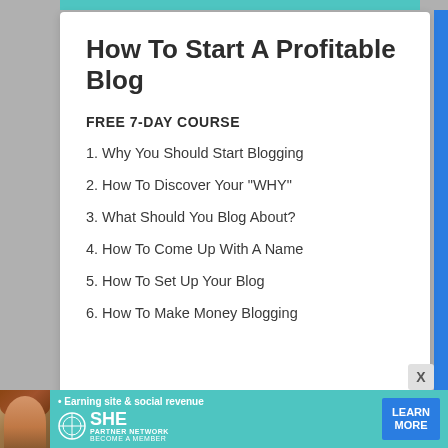How To Start A Profitable Blog
FREE 7-DAY COURSE
1. Why You Should Start Blogging
2. How To Discover Your "WHY"
3. What Should You Blog About?
4. How To Come Up With A Name
5. How To Set Up Your Blog
6. How To Make Money Blogging
[Figure (infographic): SHE Media Partner Network advertisement banner with a woman's photo, tagline 'Earning site & social revenue', SHE logo, and 'Learn More' button]